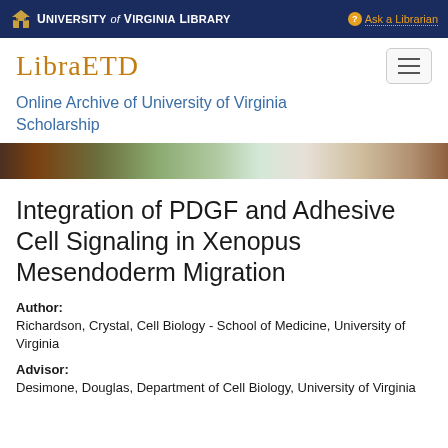University of Virginia Library   Ask a Librarian
LIBRAETD
Online Archive of University of Virginia Scholarship
[Figure (photo): Aerial or landscape photo of University of Virginia campus with trees]
Integration of PDGF and Adhesive Cell Signaling in Xenopus Mesendoderm Migration
Author: Richardson, Crystal, Cell Biology - School of Medicine, University of Virginia
Advisor: Desimone, Douglas, Department of Cell Biology, University of Virginia